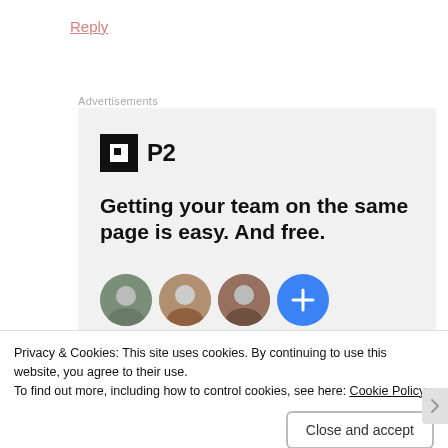Reply
Advertisements
[Figure (screenshot): P2 advertisement banner showing the P2 logo (black square icon with white rectangle cutout and 'P2' text), headline 'Getting your team on the same page is easy. And free.', and a row of circular user avatar photos at the bottom.]
Privacy & Cookies: This site uses cookies. By continuing to use this website, you agree to their use.
To find out more, including how to control cookies, see here: Cookie Policy
Close and accept